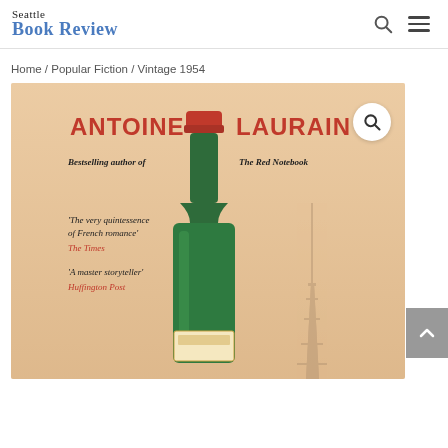Seattle Book Review
Home / Popular Fiction / Vintage 1954
[Figure (photo): Book cover of 'Vintage 1954' by Antoine Laurain. A green wine bottle with a red wax top is centered on a peach/beige background. Text reads: 'ANTOINE LAURAIN', 'Bestselling author of The Red Notebook', 'The very quintessence of French romance' - The Times, 'A master storyteller' - Huffington Post. The Eiffel Tower is visible in the background.]